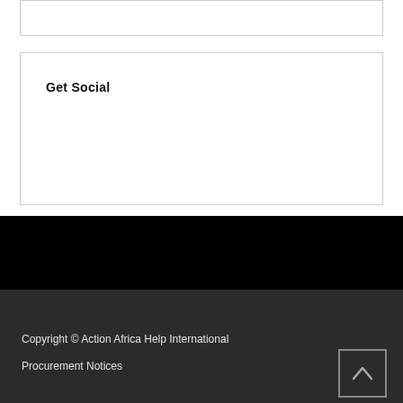Get Social
Copyright © Action Africa Help International
Procurement Notices